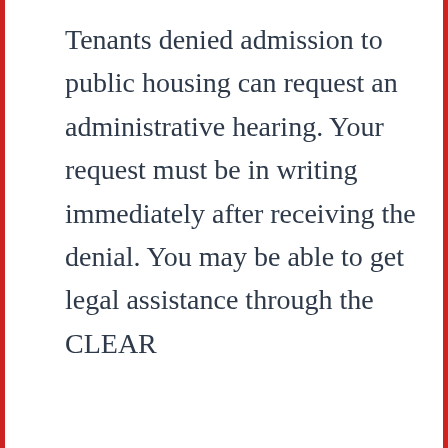Tenants denied admission to public housing can request an administrative hearing. Your request must be in writing immediately after receiving the denial. You may be able to get legal assistance through the CLEAR